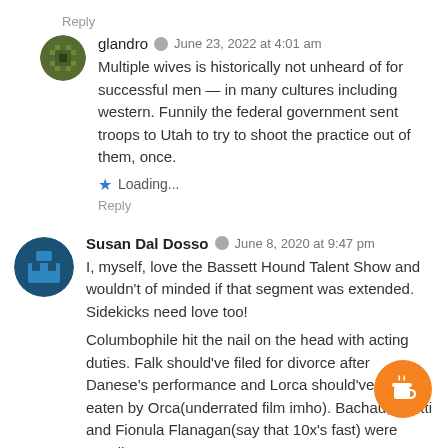Reply
glandro  June 23, 2022 at 4:01 am
Multiple wives is historically not unheard of for successful men — in many cultures including western. Funnily the federal government sent troops to Utah to try to shoot the practice out of them, once.
Loading...
Reply
Susan Dal Dosso  June 8, 2020 at 9:47 pm
I, myself, love the Bassett Hound Talent Show and wouldn't of minded if that segment was extended. Sidekicks need love too!
Columbophile hit the nail on the head with acting duties. Falk should've filed for divorce after Danese's performance and Lorca should've been eaten by Orca(underrated film imho). Bachau, Scotti and Fionula Flanagan(say that 10x's fast) were excellent.
The dream sequences reminded me of the old Batman series